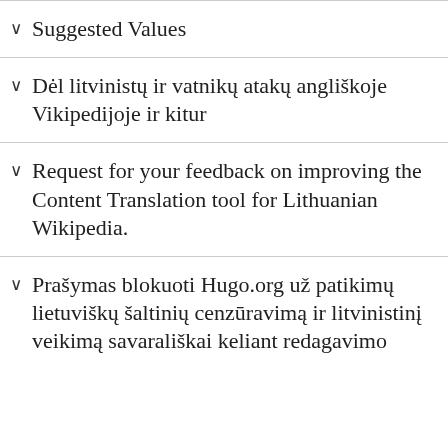Suggested Values
Dėl litvinistų ir vatnikų atakų angliškoje Vikipedijoje ir kitur
Request for your feedback on improving the Content Translation tool for Lithuanian Wikipedia.
Prašymas blokuoti Hugo.org už patikimų lietuviškų šaltinių cenzūravimą ir litvinistinį veikimą savarališkai keliant redagavimo